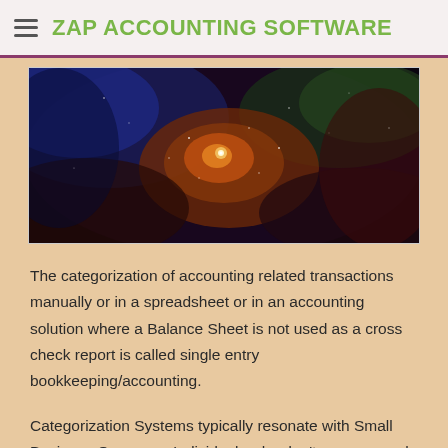ZAP ACCOUNTING SOFTWARE
[Figure (photo): Colorful nebula/space artwork with swirling cosmic colors including blues, oranges, reds, and greens]
The categorization of accounting related transactions manually or in a spreadsheet or in an accounting solution where a Balance Sheet is not used as a cross check report is called single entry bookkeeping/accounting.
Categorization Systems typically resonate with Small Business Owners or Individuals who don't care so much about full Double Entry Bookkeeping because 1) they don't